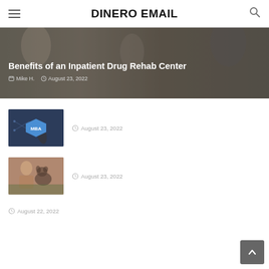DINERO EMAIL
[Figure (photo): Hero banner with people in background, overlaid with article title and author info]
Benefits of an Inpatient Drug Rehab Center
Mike H.   August 23, 2022
[Figure (photo): Person pointing at MBA hexagon badge on a digital interface]
August 23, 2022
[Figure (photo): Woman with a French bulldog outdoors]
August 23, 2022
August 22, 2022